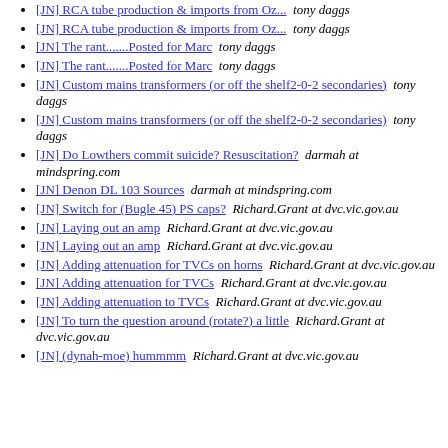[JN] RCA tube production & imports from Oz...  tony daggs
[JN] RCA tube production & imports from Oz...  tony daggs
[JN] The rant.......Posted for Marc  tony daggs
[JN] The rant.......Posted for Marc  tony daggs
[JN] Custom mains transformers (or off the shelf2-0-2 secondaries)  tony daggs
[JN] Custom mains transformers (or off the shelf2-0-2 secondaries)  tony daggs
[JN] Do Lowthers commit suicide? Resuscitation?  darmah at mindspring.com
[JN] Denon DL 103 Sources  darmah at mindspring.com
[JN] Switch for (Bugle 45) PS caps?  Richard.Grant at dvc.vic.gov.au
[JN] Laying out an amp  Richard.Grant at dvc.vic.gov.au
[JN] Laying out an amp  Richard.Grant at dvc.vic.gov.au
[JN] Adding attenuation for TVCs on horns  Richard.Grant at dvc.vic.gov.au
[JN] Adding attenuation for TVCs  Richard.Grant at dvc.vic.gov.au
[JN] Adding attenuation to TVCs  Richard.Grant at dvc.vic.gov.au
[JN] To turn the question around (rotate?) a little  Richard.Grant at dvc.vic.gov.au
[JN] (dynah-moe) hummmm  Richard.Grant at dvc.vic.gov.au